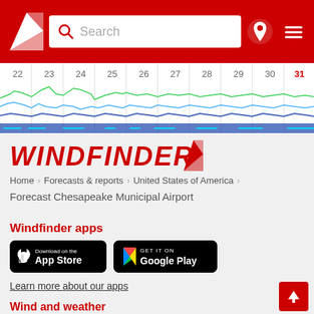[Figure (screenshot): Windfinder website header with red background, logo triangle, search bar, pin icon, and hamburger menu]
[Figure (continuous-plot): Wind forecast chart strip showing dates 22-31 with colored wave lines indicating wind speed/direction]
[Figure (logo): Windfinder logo in red italic text with red triangle/wing icon]
Home > Forecasts & reports > United States of America
Forecast Chesapeake Municipal Airport
Windfinder apps
[Figure (screenshot): App Store download badge (black rounded rectangle with Apple icon and 'Download on the App Store' text)]
[Figure (screenshot): Google Play download badge (black rounded rectangle with colorful play icon and 'GET IT ON Google Play' text)]
Learn more about our apps
Wind and weather
Weather maps